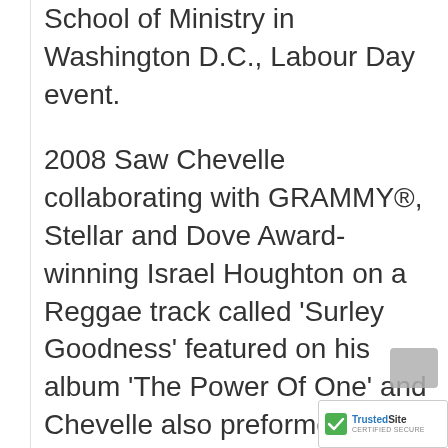School of Ministry in Washington D.C., Labour Day event.
2008 Saw Chevelle collaborating with GRAMMY®, Stellar and Dove Award-winning Israel Houghton on a Reggae track called ‘Surley Goodness’ featured on his album ‘The Power Of One’ and Chevelle also preformed at The Experience, Lagos Nigeria...
[Figure (logo): TrustedSite CERTIFIED SECURE badge in bottom right corner]